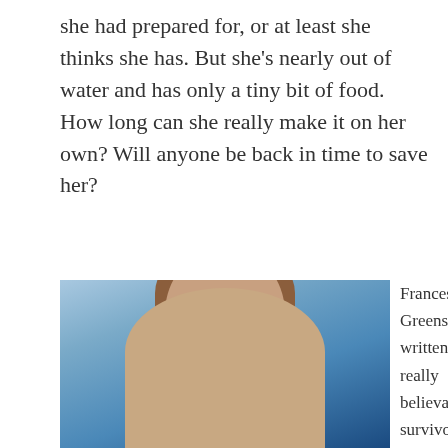she had prepared for, or at least she thinks she has. But she's nearly out of water and has only a tiny bit of food. How long can she really make it on her own? Will anyone be back in time to save her?
[Figure (photo): Portrait photo of Frances Greenslade, a woman with curly brown hair, smiling, against a blue sky background]
Frances Greenslade has written a a really believable survivor story with plenty of tension and great characters. The first-